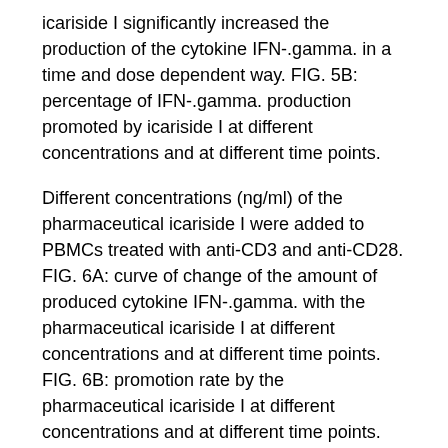icariside I significantly increased the production of the cytokine IFN-.gamma. in a time and dose dependent way. FIG. 5B: percentage of IFN-.gamma. production promoted by icariside I at different concentrations and at different time points.
Different concentrations (ng/ml) of the pharmaceutical icariside I were added to PBMCs treated with anti-CD3 and anti-CD28. FIG. 6A: curve of change of the amount of produced cytokine IFN-.gamma. with the pharmaceutical icariside I at different concentrations and at different time points. FIG. 6B: promotion rate by the pharmaceutical icariside I at different concentrations and at different time points. *P<0.05; **-***P<0.01.
Example 7
Test of Using Icariside I to Promote Human .gamma.-Interferon Production and to